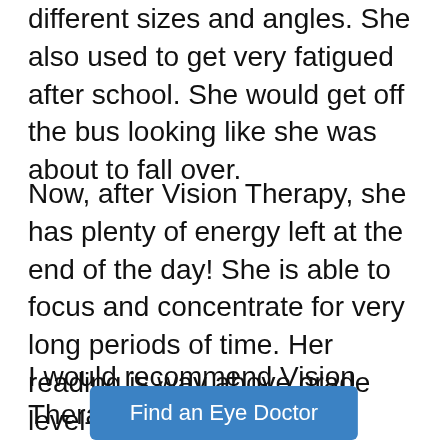different sizes and angles. She also used to get very fatigued after school. She would get off the bus looking like she was about to fall over.
Now, after Vision Therapy, she has plenty of energy left at the end of the day! She is able to focus and concentrate for very long periods of time. Her reading is way above grade level— approximately 6th grade level and she is only in 2nd grade.
I would recommend Vision Therapy to others. Yes
Find an Eye Doctor